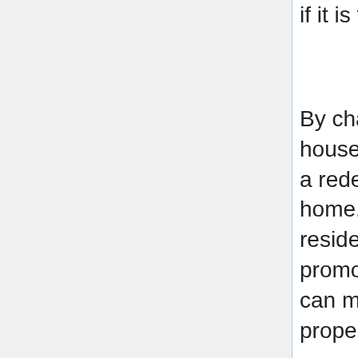if it is time.
By changing the existing rain gutters on one's house with copper rain gutters they are carrying out a redesigning task that increases the look of their home. It may also support the need for one's residence if they are ever proceeding to attempt to promote your home. Most importantly although it can make one particular feel better about their property.
If you're thinking about changing the house siding of your dwelling, you need to think about appropriate heat retaining material. You may surely save cash on electricity fees, and in addition it ups your resale importance. It puts dollars